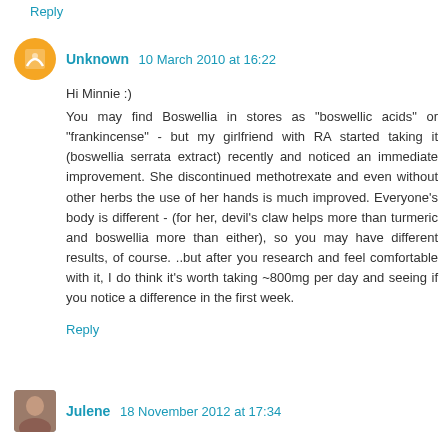Reply
Unknown  10 March 2010 at 16:22
Hi Minnie :)
You may find Boswellia in stores as "boswellic acids" or "frankincense" - but my girlfriend with RA started taking it (boswellia serrata extract) recently and noticed an immediate improvement. She discontinued methotrexate and even without other herbs the use of her hands is much improved. Everyone's body is different - (for her, devil's claw helps more than turmeric and boswellia more than either), so you may have different results, of course. ..but after you research and feel comfortable with it, I do think it's worth taking ~800mg per day and seeing if you notice a difference in the first week.
Reply
Julene  18 November 2012 at 17:34